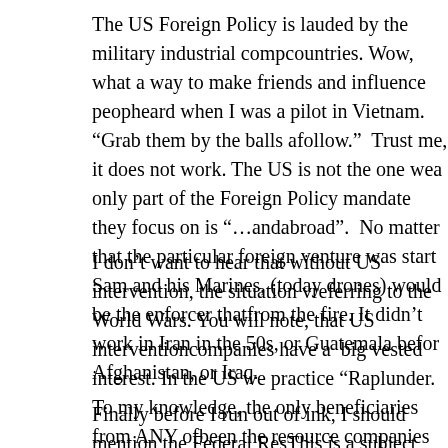The US Foreign Policy is lauded by the military industrial comp… countries. Wow, what a way to make friends and influence peop… heard when I was a pilot in Vietnam. “Grab them by the balls a… follow.”  Trust me, it does not work. The US is not the one wea… only part of the Foreign Policy mandate they focus on is “…and abroad”.  No matter that the particular foreign venture was start… Sam and his Marines, (today drones) would be the enforcer that… from the fire. It didn’t work in Iran in the 50s, or Guatemala bef… or Afghanistan, or Iraq.
I don’t want to hear that without US intervention, the situation v… referring to the World Wars. You will note, that US intervention… companies have a  big vested interest. In the US we practice “Ra… plunder. To my knowledge, the only beneficiaries from ANY of… been the resource companies (including United Fruit Company)… complex.
Finally before I run out of ink, I should mention the Federal Res… This is a subject that has had extensive coverage in the alterna…